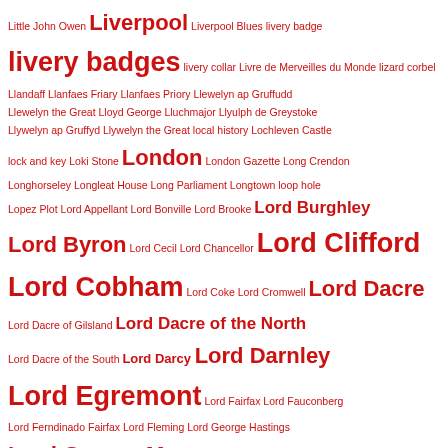Little John Owen Liverpool Liverpool Blues livery badge livery badges livery collar Livre de Merveilles du Monde lizard corbel Llandaff Llanfaes Friary Llanfaes Priory Llewelyn ap Gruffudd Llewelyn the Great Lloyd George Lluchmajor Llyulph de Greystoke Llywelyn ap Gruffyd Llywelyn the Great local history Lochleven Castle lock and key Loki Stone London London Gazette Long Crendon Longhorseley Longleat House Long Parliament Longtown loop hole Lopez Plot Lord Appellant Lord Bonville Lord Brooke Lord Burghley Lord Byron Lord Cecil Lord Chancellor Lord Clifford Lord Cobham Lord Coke Lord Cromwell Lord Dacre Lord Dacre of Gilsland Lord Dacre of the North Lord Dacre of the South Lord Darcy Lord Darnley Lord Egremont Lord Fairfax Lord Fauconberg Lord Ferndinado Fairfax Lord Fleming Lord George Hastings Lord George Murray Lord Goring Lord Grey Lord Grey of Codnor Lord Grey of Ruthin Lord Greystoke Lord Hastings Lord Herries Lord Hothfield Lord Howard Lord Howard of Effingham Lord Hunsdon Lord Huntly Lord Hussey Lord John Byron Lord John Neville